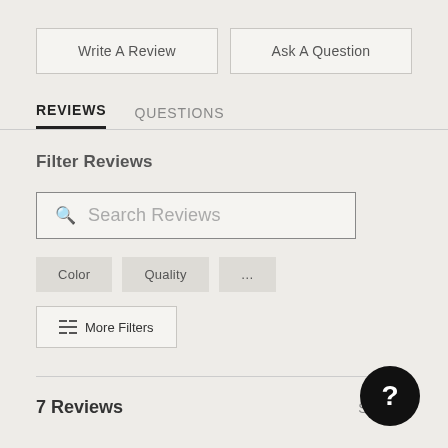Write A Review
Ask A Question
REVIEWS
QUESTIONS
Filter Reviews
Search Reviews
Color
Quality
...
More Filters
7 Reviews
Sort: Sel